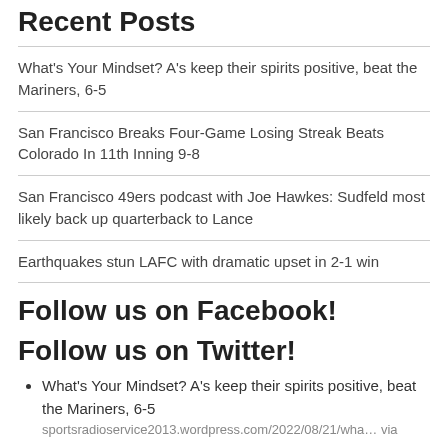Recent Posts
What's Your Mindset? A's keep their spirits positive, beat the Mariners, 6-5
San Francisco Breaks Four-Game Losing Streak Beats Colorado In 11th Inning 9-8
San Francisco 49ers podcast with Joe Hawkes: Sudfeld most likely back up quarterback to Lance
Earthquakes stun LAFC with dramatic upset in 2-1 win
Follow us on Facebook!
Follow us on Twitter!
What's Your Mindset? A's keep their spirits positive, beat the Mariners, 6-5
sportsradioservice2013.wordpress.com/2022/08/21/wha… via